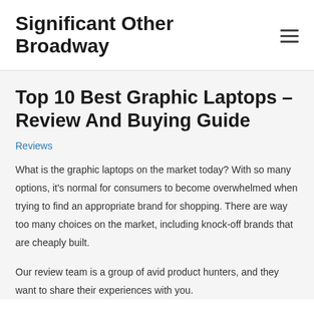Significant Other Broadway
Top 10 Best Graphic Laptops – Review And Buying Guide
Reviews
What is the graphic laptops on the market today? With so many options, it's normal for consumers to become overwhelmed when trying to find an appropriate brand for shopping. There are way too many choices on the market, including knock-off brands that are cheaply built.
Our review team is a group of avid product hunters, and they want to share their experiences with you.